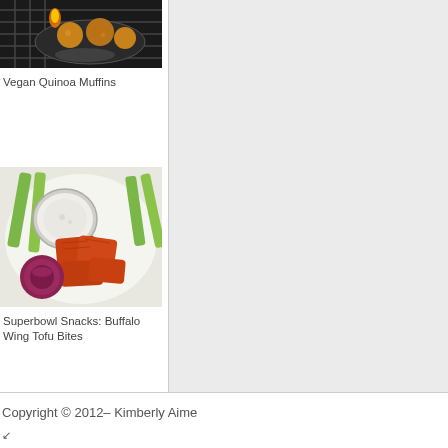[Figure (photo): Vegan Quinoa Muffins in a muffin pan on a stove top, close-up view]
Vegan Quinoa Muffins
[Figure (photo): Superbowl Snacks: Buffalo Wing Tofu Bites on a white plate with celery sticks, dipping sauce, and red onion]
Superbowl Snacks: Buffalo Wing Tofu Bites
Copyright © 2012– Kimberly Aime